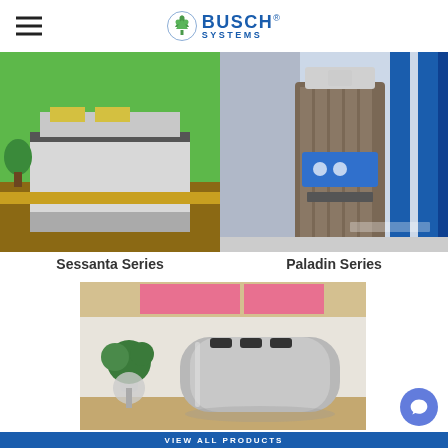Busch Systems
[Figure (photo): Office kitchen with green wall, recycling/waste station with yellow bins and metal frame]
[Figure (photo): Paladin outdoor waste station with dark wood-panel finish, blue recycling logos, standing near glass doors with blue pillars]
Sessanta Series
Paladin Series
[Figure (photo): Pacific Series sleek silver multi-stream recycling station with oval openings, placed next to a potted plant on white table in lobby with colorful art on wall]
Pacific Series
VIEW ALL PRODUCTS